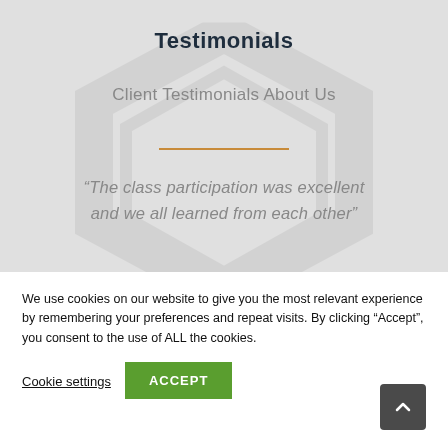Testimonials
Client Testimonials About Us
“The class participation was excellent and we all learned from each other”
We use cookies on our website to give you the most relevant experience by remembering your preferences and repeat visits. By clicking “Accept”, you consent to the use of ALL the cookies.
Cookie settings
ACCEPT